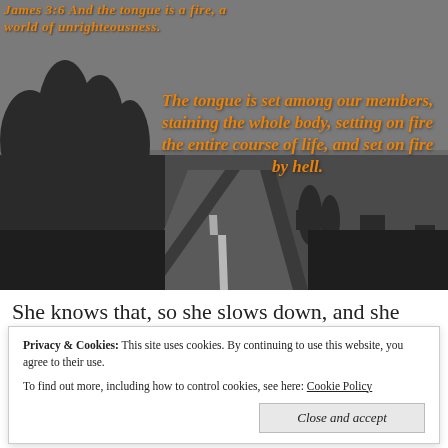[Figure (illustration): Grayscale silhouette image of a road stretching into the distance with trees and buildings on the horizon. Orange bold italic text overlaid reading 'James 3:6 And the tongue is a fire, a world of unrighteousness. The tongue is set among our members, staining the whole body, setting on fire the entire course of life, and set on fire by hell.']
She knows that, so she slows down, and she
Privacy & Cookies: This site uses cookies. By continuing to use this website, you agree to their use.
To find out more, including how to control cookies, see here: Cookie Policy
Close and accept
I want to be her. This woman understands that